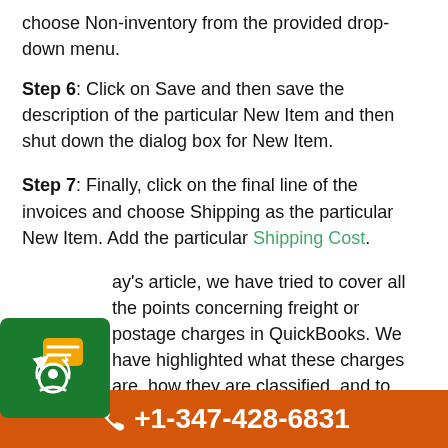choose Non-inventory from the provided drop-down menu.
Step 6: Click on Save and then save the description of the particular New Item and then shut down the dialog box for New Item.
Step 7: Finally, click on the final line of the invoices and choose Shipping as the particular New Item. Add the particular Shipping Cost.
ay’s article, we have tried to cover all the points concerning freight or postage charges in QuickBooks. We have highlighted what these charges are, how they are classified, and to enter freight charges and shipping charges in QuickBooks. We have elaborated the procedure in a step-by-
+1-347-428-6831